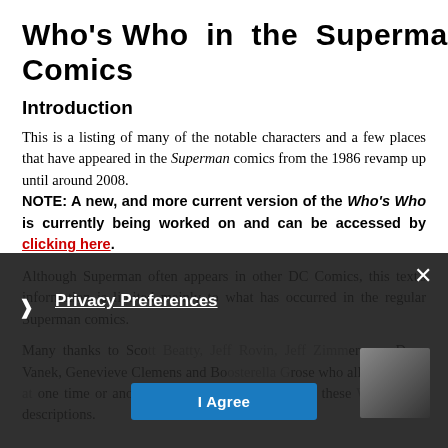Who's Who in the Superman Comics
Introduction
This is a listing of many of the notable characters and a few places that have appeared in the Superman comics from the 1986 revamp up until around 2008. NOTE: A new, and more current version of the Who's Who is currently being worked on and can be accessed by clicking here.
Although Superman often appears in other DC Comics, this text's information is limited mainly to what has occurred in the regular Superman comics.
Many thanks to Scott Beatty, Jeff Rovin, Jeff Zimmerman, Dean Vanek, Genevieve Clemens and Boosterella Grose who all helped out at one time or another with writing and updating these Who's Who descriptions.
[Figure (screenshot): Privacy preferences overlay banner with 'Privacy Preferences' heading, 'I Agree' button, and a close X button]